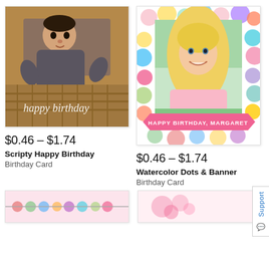[Figure (photo): Baby lying in wicker basket wearing gray knit outfit, with 'happy birthday' script text overlay, white card border]
$0.46 – $1.74
Scripty Happy Birthday
Birthday Card
[Figure (photo): Blonde teenage girl smiling, portrait orientation, framed with colorful watercolor dot border and pink 'HAPPY BIRTHDAY, MARGARET' banner at bottom]
$0.46 – $1.74
Watercolor Dots & Banner
Birthday Card
[Figure (photo): Partial view of card with colorful circles/dots garland design at bottom of page]
[Figure (photo): Partial view of card with pink floral design at bottom of page]